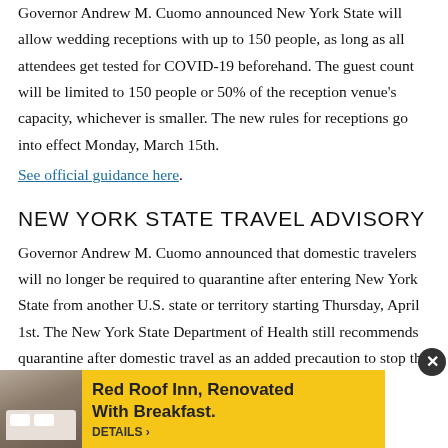Governor Andrew M. Cuomo announced New York State will allow wedding receptions with up to 150 people, as long as all attendees get tested for COVID-19 beforehand. The guest count will be limited to 150 people or 50% of the reception venue's capacity, whichever is smaller. The new rules for receptions go into effect Monday, March 15th.
See official guidance here.
NEW YORK STATE TRAVEL ADVISORY
Governor Andrew M. Cuomo announced that domestic travelers will no longer be required to quarantine after entering New York State from another U.S. state or territory starting Thursday, April 1st. The New York State Department of Health still recommends quarantine after domestic travel as an added precaution to stop the spread of COVID-19. Mandatory quarantine remains in
[Figure (other): Advertisement banner for Red Roof Inn with yellow background, showing a hotel room image on the left and text 'Red Roof Inn, Renovated With Breakfast. DETAILS ›' on the right. A close button (X) appears in the upper right corner.]